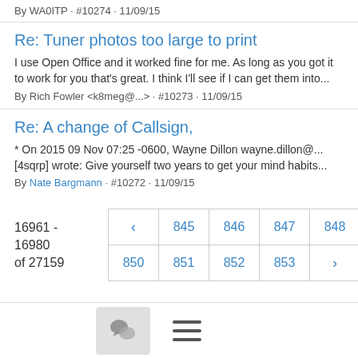By WA0ITP · #10274 · 11/09/15
Re: Tuner photos too large to print
I use Open Office and it worked fine for me. As long as you got it to work for you that's great. I think I'll see if I can get them into...
By Rich Fowler <k8meg@...> · #10273 · 11/09/15
Re: A change of Callsign,
* On 2015 09 Nov 07:25 -0600, Wayne Dillon wayne.dillon@... [4sqrp] wrote: Give yourself two years to get your mind habits...
By Nate Bargmann · #10272 · 11/09/15
16961 - 16980 of 27159
[Figure (other): Pagination control with page numbers: back arrow, 845, 846, 847, 848, 849 (active/bold), 850, 851, 852, 853, forward arrow]
[Figure (other): Bottom toolbar with chat bubble icon button and hamburger menu icon]